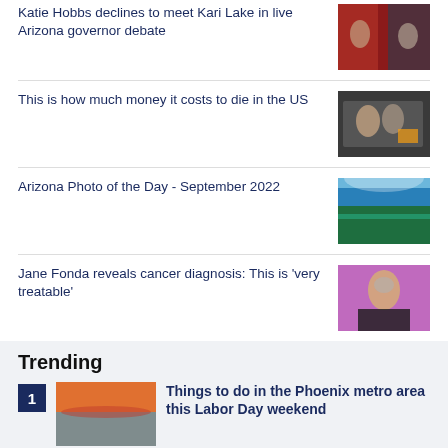Katie Hobbs declines to meet Kari Lake in live Arizona governor debate
This is how much money it costs to die in the US
Arizona Photo of the Day - September 2022
Jane Fonda reveals cancer diagnosis: This is 'very treatable'
Trending
Things to do in the Phoenix metro area this Labor Day weekend